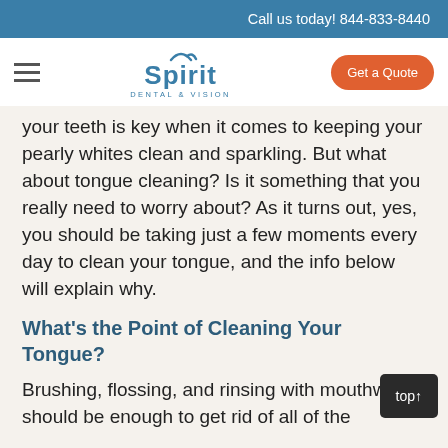Call us today! 844-833-8440
[Figure (logo): Spirit Dental & Vision logo with hamburger menu and Get a Quote button]
your teeth is key when it comes to keeping your pearly whites clean and sparkling. But what about tongue cleaning? Is it something that you really need to worry about? As it turns out, yes, you should be taking just a few moments every day to clean your tongue, and the info below will explain why.
What's the Point of Cleaning Your Tongue?
Brushing, flossing, and rinsing with mouthwash should be enough to get rid of all of the